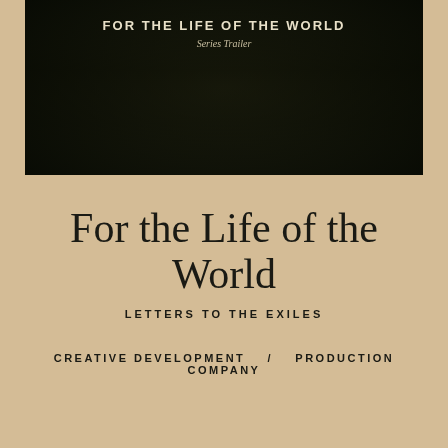[Figure (screenshot): Dark cinematic thumbnail image with text 'FOR THE LIFE OF THE WORLD' and 'Series Trailer' overlaid on a dark nature/forest background]
For the Life of the World
LETTERS TO THE EXILES
CREATIVE DEVELOPMENT   /   PRODUCTION COMPANY